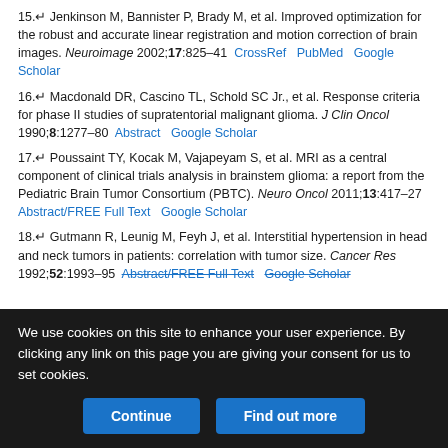15. Jenkinson M, Bannister P, Brady M, et al. Improved optimization for the robust and accurate linear registration and motion correction of brain images. Neuroimage 2002;17:825–41  CrossRef  PubMed  Google Scholar
16. Macdonald DR, Cascino TL, Schold SC Jr., et al. Response criteria for phase II studies of supratentorial malignant glioma. J Clin Oncol 1990;8:1277–80  Abstract  Google Scholar
17. Poussaint TY, Kocak M, Vajapeyam S, et al. MRI as a central component of clinical trials analysis in brainstem glioma: a report from the Pediatric Brain Tumor Consortium (PBTC). Neuro Oncol 2011;13:417–27  Abstract/FREE Full Text  Google Scholar
18. Gutmann R, Leunig M, Feyh J, et al. Interstitial hypertension in head and neck tumors in patients: correlation with tumor size. Cancer Res 1992;52:1993–95  Abstract/FREE Full Text  Google Scholar
We use cookies on this site to enhance your user experience. By clicking any link on this page you are giving your consent for us to set cookies.